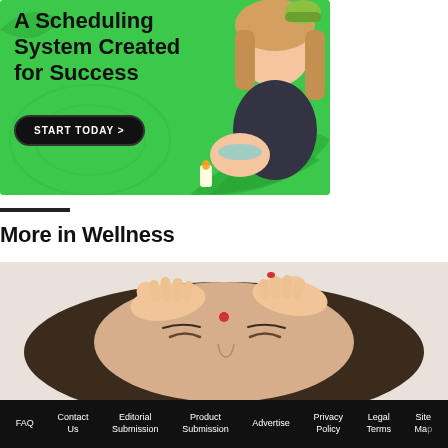[Figure (illustration): Green advertisement banner for a scheduling system with bold text 'A Scheduling System Created for Success', a dark 'START TODAY >' button, and a photo of a smiling woman alongside a spa scene with candles and leaves.]
More in Wellness
[Figure (photo): Close-up photo of a woman with closed eyes receiving a head massage, with hands pressing on her forehead and a red bindi dot visible.]
FAQ  Contact Us  Editorial Submission  Product Submission  Advertise  Privacy Policy  Legal Terms  Site Map